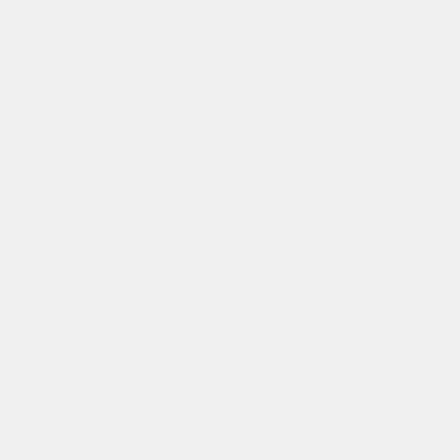the like wh doe the ide cor fro
Pre
MT, vide Jap her alw 200
| Fac | Par | Mai Cas | Q& | Nev